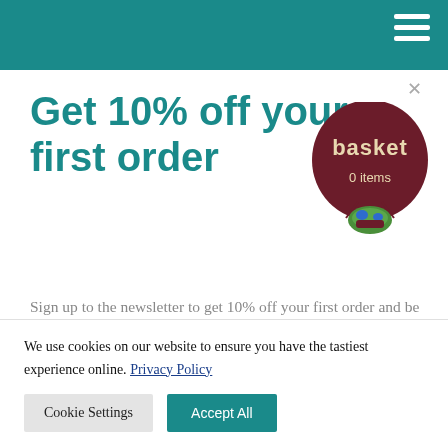Get 10% off your first order
[Figure (illustration): Dark red hot air balloon with 'basket' text and '0 items' label below, with a colorful globe basket at the bottom]
Sign up to the newsletter to get 10% off your first order and be the first to know about exclusive deals and new releases. What's not to like?
Email address
We use cookies on our website to ensure you have the tastiest experience online. Privacy Policy
Cookie Settings
Accept All